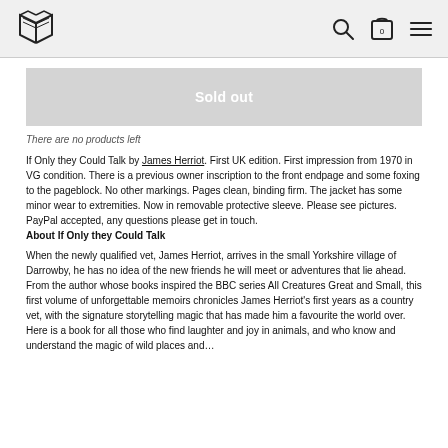Bookshop logo, search icon, cart (0), menu
Sold out
There are no products left
If Only they Could Talk by James Herriot. First UK edition. First impression from 1970 in VG condition. There is a previous owner inscription to the front endpage and some foxing to the pageblock. No other markings. Pages clean, binding firm. The jacket has some minor wear to extremities. Now in removable protective sleeve. Please see pictures. PayPal accepted, any questions please get in touch. About If Only they Could Talk
When the newly qualified vet, James Herriot, arrives in the small Yorkshire village of Darrowby, he has no idea of the new friends he will meet or adventures that lie ahead. From the author whose books inspired the BBC series All Creatures Great and Small, this first volume of unforgettable memoirs chronicles James Herriot's first years as a country vet, with the signature storytelling magic that has made him a favourite the world over. Here is a book for all those who find laughter and joy in animals, and who know and understand the magic of wild places and...